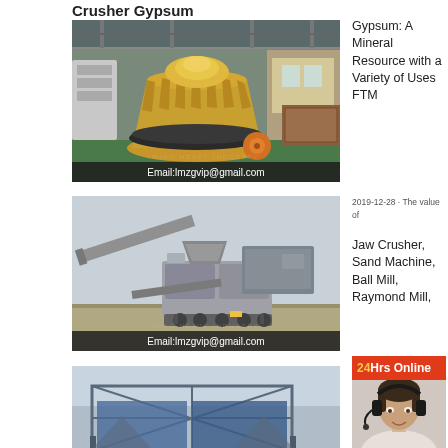Crusher Gypsum
[Figure (photo): Industrial cone crusher machine (gold/yellow colored) inside a factory/workshop with overhead steel structure. Email:lmzgvip@gmail.com watermark overlay.]
Gypsum: A Mineral Resource with a Variety of Uses FTM
2019-12-28 · The value of
[Figure (photo): Mobile crushing and screening plant on wheels, outdoors on flat ground. Email:lmzgvip@gmail.com watermark overlay.]
Jaw Crusher, Sand Machine, Ball Mill, Raymond Mill,
24Hrs Online
[Figure (photo): Construction/lifting equipment with blue tarp covers, partially visible at bottom of page.]
[Figure (photo): Customer service representative wearing headset, partially visible at bottom right.]